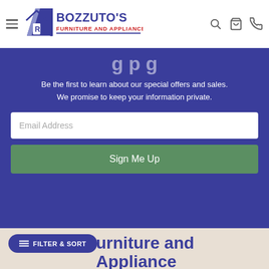[Figure (logo): Bozzuto's Furniture and Appliance logo with blue house/door icon and red text]
Be the first to learn about our special offers and sales. We promise to keep your information private.
Email Address
Sign Me Up
FILTER & SORT
urniture and Appliance